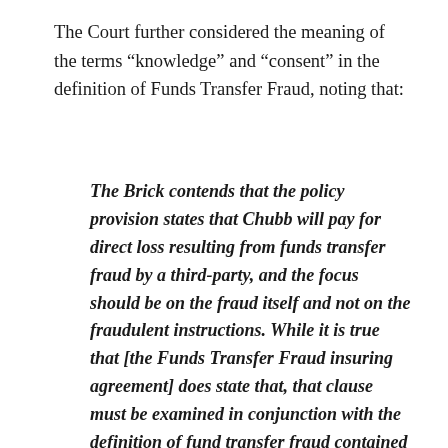The Court further considered the meaning of the terms “knowledge” and “consent” in the definition of Funds Transfer Fraud, noting that:
The Brick contends that the policy provision states that Chubb will pay for direct loss resulting from funds transfer fraud by a third-party, and the focus should be on the fraud itself and not on the fraudulent instructions. While it is true that [the Funds Transfer Fraud insuring agreement] does state that, that clause must be examined in conjunction with the definition of fund transfer fraud contained in the contract. That definition includes the words